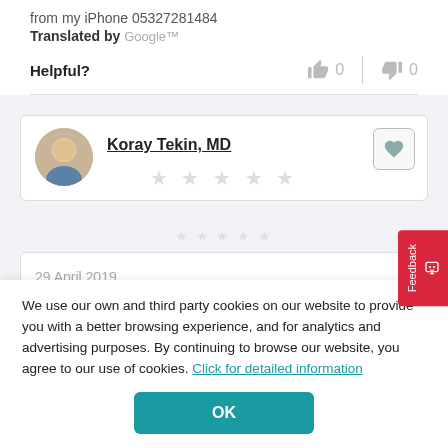from my iPhone 05327281484
Translated by Google™
Helpful? 👍 0 | 👎 0
Koray Tekin, MD
29 April 2019
We use our own and third party cookies on our website to provide you with a better browsing experience, and for analytics and advertising purposes. By continuing to browse our website, you agree to our use of cookies. Click for detailed information
OK